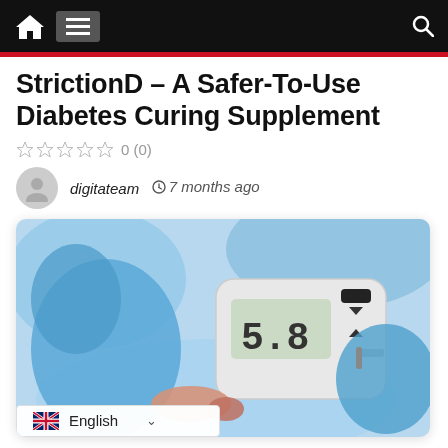Navigation bar with home, menu, and search icons
StrictionD – A Safer-To-Use Diabetes Curing Supplement
0 (0)
digitateam  ⊙ 7 months ago
[Figure (photo): A blood glucose meter being held by gloved hands, with a finger being tested. The meter displays a reading. Background is blurred blue medical setting.]